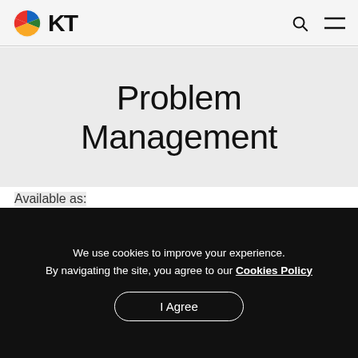GKT (logo) | search icon | menu icon
Problem Management
Available as:
IN-HOUSE CLASS
PUBLIC CLASS
We use cookies to improve your experience. By navigating the site, you agree to our Cookies Policy
I Agree